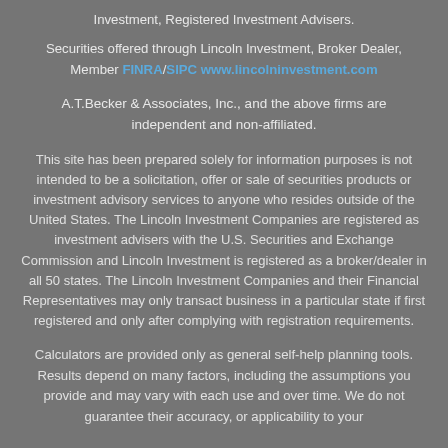Investment, Registered Investment Advisers.
Securities offered through Lincoln Investment, Broker Dealer, Member FINRA/SIPC www.lincolninvestment.com
A.T.Becker & Associates, Inc., and the above firms are independent and non-affiliated.
This site has been prepared solely for information purposes is not intended to be a solicitation, offer or sale of securities products or investment advisory services to anyone who resides outside of the United States. The Lincoln Investment Companies are registered as investment advisers with the U.S. Securities and Exchange Commission and Lincoln Investment is registered as a broker/dealer in all 50 states. The Lincoln Investment Companies and their Financial Representatives may only transact business in a particular state if first registered and only after complying with registration requirements.
Calculators are provided only as general self-help planning tools. Results depend on many factors, including the assumptions you provide and may vary with each use and over time. We do not guarantee their accuracy, or applicability to your